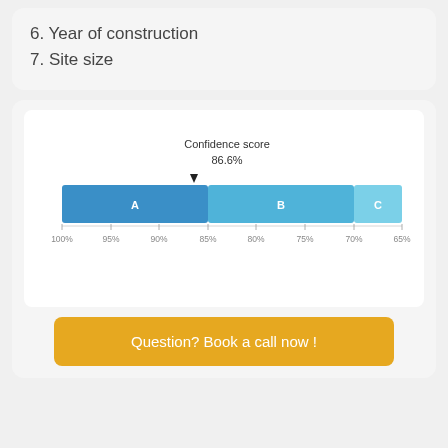6. Year of construction
7. Site size
[Figure (infographic): Confidence score gauge bar showing 86.6% with a downward arrow marker. The bar is divided into three colored segments: A (dark blue, 100%–85%), B (medium blue, 85%–70%), C (light blue/cyan, 70%–65%). Axis labels: 100%, 95%, 90%, 85%, 80%, 75%, 70%, 65%. The marker arrow points at approximately 86.6%.]
Question? Book a call now !